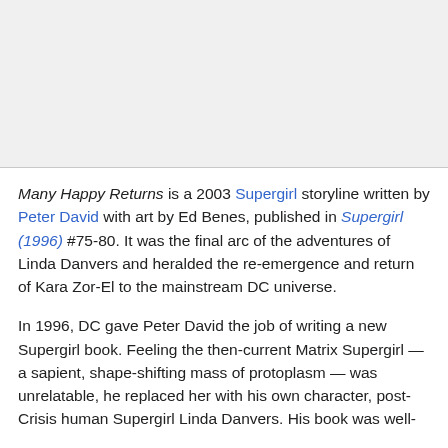[Figure (other): Gray image placeholder area at the top of the page]
Many Happy Returns is a 2003 Supergirl storyline written by Peter David with art by Ed Benes, published in Supergirl (1996) #75-80. It was the final arc of the adventures of Linda Danvers and heralded the re-emergence and return of Kara Zor-El to the mainstream DC universe.
In 1996, DC gave Peter David the job of writing a new Supergirl book. Feeling the then-current Matrix Supergirl — a sapient, shape-shifting mass of protoplasm — was unrelatable, he replaced her with his own character, post-Crisis human Supergirl Linda Danvers. His book was well-